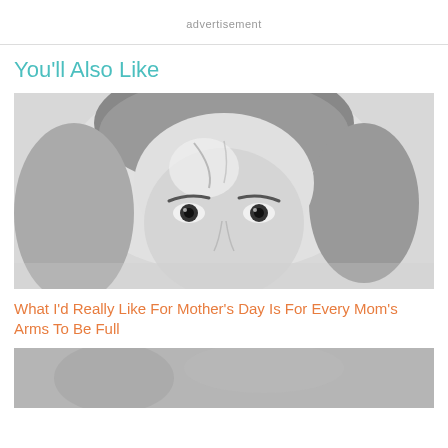advertisement
[Figure (photo): Black and white close-up photograph of a young woman's face, showing her eyes, nose, and forehead with hair pulled back]
You'll Also Like
What I'd Really Like For Mother's Day Is For Every Mom's Arms To Be Full
[Figure (photo): Partial black and white photograph, bottom of page, partially cropped]